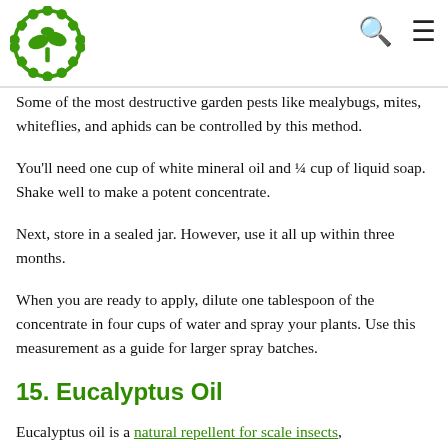[Logo: garden/plant icon] [Search icon] [Menu icon]
Some of the most destructive garden pests like mealybugs, mites, whiteflies, and aphids can be controlled by this method.
You'll need one cup of white mineral oil and ¼ cup of liquid soap. Shake well to make a potent concentrate.
Next, store in a sealed jar. However, use it all up within three months.
When you are ready to apply, dilute one tablespoon of the concentrate in four cups of water and spray your plants. Use this measurement as a guide for larger spray batches.
15. Eucalyptus Oil
Eucalyptus oil is a natural repellent for scale insects,